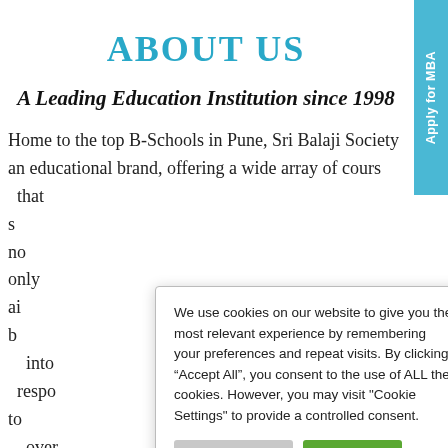ABOUT US
A Leading Education Institution since 1998
Home to the top B-Schools in Pune, Sri Balaji Society is an educational brand, offering a wide array of courses that s... y, not only ai... als b into... ine, respo... on to over... and.
We use cookies on our website to give you the most relevant experience by remembering your preferences and repeat visits. By clicking “Accept All”, you consent to the use of ALL the cookies. However, you may visit "Cookie Settings" to provide a controlled consent.
Sri Ba... lished under... ociet
Apply for MBA
Apply for Ph. D.
Apply for